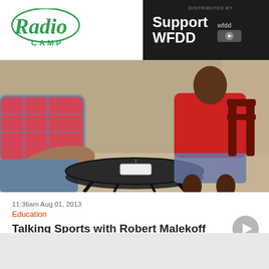Radio Camp | Support WFDD | DISTRIBUTED BY wfdd
[Figure (photo): Two people sitting at a round metal outdoor table, one in a plaid shirt and jeans, one in a red t-shirt and shorts. A recording device is on the table between them.]
11:36am Aug 01, 2013
Education
Talking Sports with Robert Malekoff